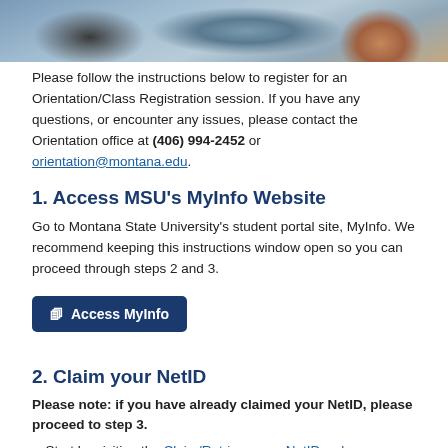[Figure (photo): Photograph showing students working on laptops in a casual setting, partially cropped at top of page]
Please follow the instructions below to register for an Orientation/Class Registration session. If you have any questions, or encounter any issues, please contact the Orientation office at (406) 994-2452 or orientation@montana.edu.
1. Access MSU's MyInfo Website
Go to Montana State University's student portal site, MyInfo. We recommend keeping this instructions window open so you can proceed through steps 2 and 3.
[Figure (other): Button labeled Access MyInfo with external link icon]
2. Claim your NetID
Please note: if you have already claimed your NetID, please proceed to step 3.
Start by visiting the Claim/Retrieve your NetID webpage